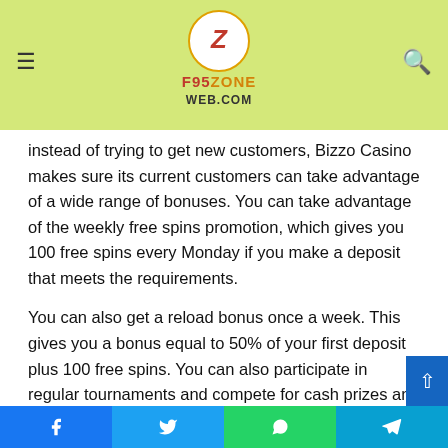F95ZONE WEB.COM — navigation header with logo, hamburger menu, and search icon
instead of trying to get new customers, Bizzo Casino makes sure its current customers can take advantage of a wide range of bonuses. You can take advantage of the weekly free spins promotion, which gives you 100 free spins every Monday if you make a deposit that meets the requirements.
You can also get a reload bonus once a week. This gives you a bonus equal to 50% of your first deposit plus 100 free spins. You can also participate in regular tournaments and compete for cash prizes and free spins.
Bizzo Casino Games
Blackjack players can choose from over 50 games, including exciting variations like Blackjack Royal Pairs and Blackjack
Facebook | Twitter | WhatsApp | Telegram